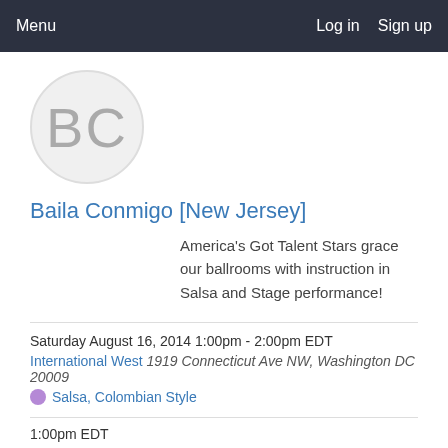Menu   Log in   Sign up
[Figure (illustration): Circular avatar with letters BC in gray on light gray background]
Baila Conmigo [New Jersey]
America's Got Talent Stars grace our ballrooms with instruction in Salsa and Stage performance!
Saturday August 16, 2014 1:00pm - 2:00pm EDT
International West 1919 Connecticut Ave NW, Washington DC 20009
Salsa, Colombian Style
1:00pm EDT